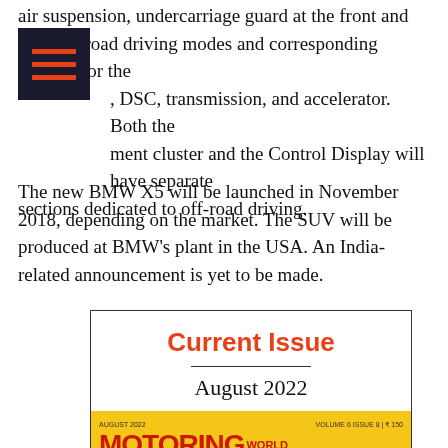air suspension, undercarriage guard at the front and rear, off-road driving modes and corresponding settings for the , DSC, transmission, and accelerator. Both the ment cluster and the Control Display will have separate sections dedicated to off-road driving.
The new BMW X5 will be launched in November 2018, depending on the market. The SUV will be produced at BMW's plant in the USA. An India-related announcement is yet to be made.
[Figure (other): Current Issue box showing August 2022 issue of Motoring World magazine with yellow header and red title text]